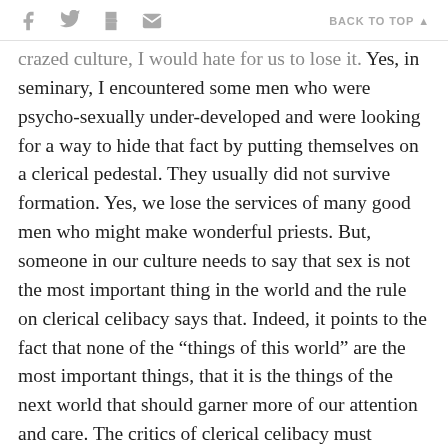f [twitter] [print] [email]   BACK TO TOP ▲
crazed culture, I would hate for us to lose it. Yes, in seminary, I encountered some men who were psycho-sexually under-developed and were looking for a way to hide that fact by putting themselves on a clerical pedestal. They usually did not survive formation. Yes, we lose the services of many good men who might make wonderful priests. But, someone in our culture needs to say that sex is not the most important thing in the world and the rule on clerical celibacy says that. Indeed, it points to the fact that none of the “things of this world” are the most important things, that it is the things of the next world that should garner more of our attention and care. The critics of clerical celibacy must acknowledge this: When someone meets a Catholic priest, it is one of the first thoughts that occurs – I wonder what drives a person to choose a life that permits no sexual plea...